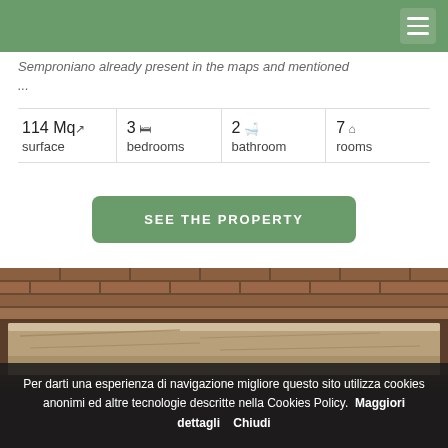Semproniano already present in the maps and mentioned ...
114 Mq surface | 3 bedrooms | 2 bathroom | 7 rooms
SEE THE PROPERTY
[Figure (photo): Stone lintel over a brick wall doorway, dark stone and aged brick masonry]
Per darti una esperienza di navigazione migliore questo sito utilizza cookies anonimi ed altre tecnologie descritte nella Cookies Policy.  Maggiori dettagli    Chiudi